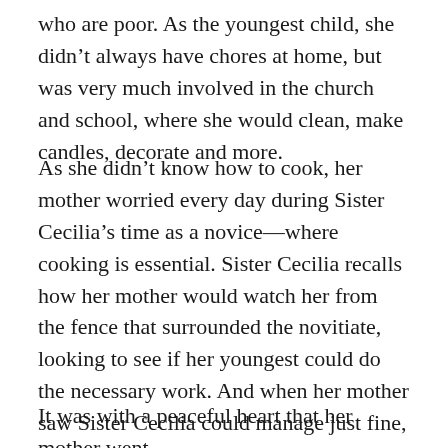who are poor. As the youngest child, she didn't always have chores at home, but was very much involved in the church and school, where she would clean, make candles, decorate and more.
As she didn't know how to cook, her mother worried every day during Sister Cecilia's time as a novice—where cooking is essential. Sister Cecilia recalls how her mother would watch her from the fence that surrounded the novitiate, looking to see if her youngest could do the necessary work. And when her mother saw Sister Cecilia could manage just fine, her heart was calmed.
It was with a peaceful heart that her mother went